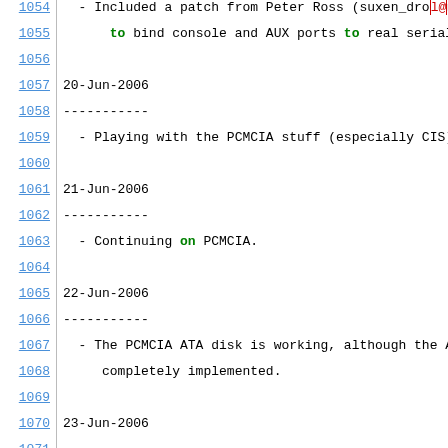1054  - Included a patch from Peter Ross (suxen_drol@... to bind console and AUX ports to real serial p
1055       to bind console and AUX ports to real serial p
1056
1057  20-Jun-2006
1058  -----------
1059    - Playing with the PCMCIA stuff (especially CIS)
1060
1061  21-Jun-2006
1062  -----------
1063    - Continuing on PCMCIA.
1064
1065  22-Jun-2006
1066  -----------
1067    - The PCMCIA ATA disk is working, although the A
1068       completely implemented.
1069
1070  23-Jun-2006
1071  -----------
1072    - Added virtual ethernet switch module.
1073    - bugfix: linux_eth file descriptor was not used
1074    - Modified the ELF loader to use all sections.
1075
1076  26-Jun-2006